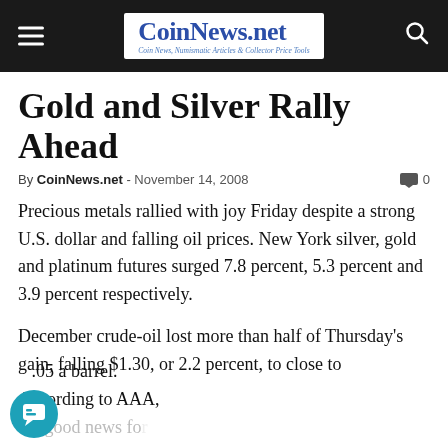CoinNews.net — Coin News, Numismatic Articles & Collector Price Tools
Gold and Silver Rally Ahead
By CoinNews.net - November 14, 2008  💬 0
Precious metals rallied with joy Friday despite a strong U.S. dollar and falling oil prices. New York silver, gold and platinum futures surged 7.8 percent, 5.3 percent and 3.9 percent respectively.
December crude-oil lost more than half of Thursday's gain, falling $1.30, or 2.2 percent, to close to [.]05 a barrel. According to AAA, the good news for...